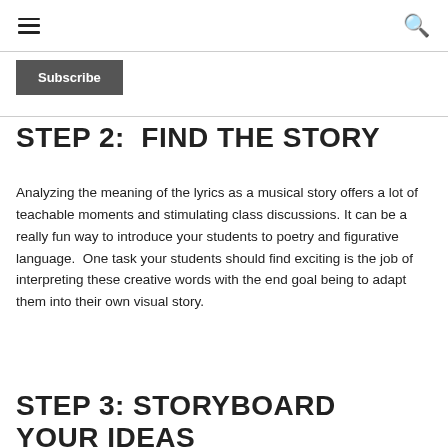≡  🔍
Subscribe
STEP 2:  FIND THE STORY
Analyzing the meaning of the lyrics as a musical story offers a lot of teachable moments and stimulating class discussions. It can be a really fun way to introduce your students to poetry and figurative language.  One task your students should find exciting is the job of interpreting these creative words with the end goal being to adapt them into their own visual story.
STEP 3: STORYBOARD YOUR IDEAS